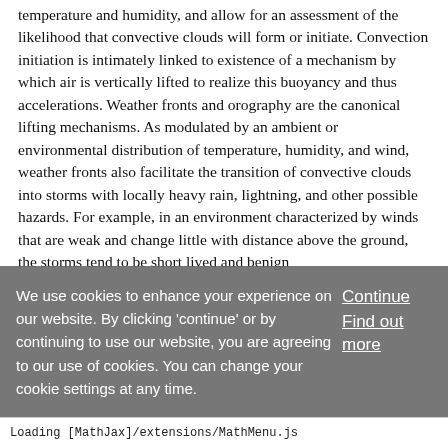temperature and humidity, and allow for an assessment of the likelihood that convective clouds will form or initiate. Convection initiation is intimately linked to existence of a mechanism by which air is vertically lifted to realize this buoyancy and thus accelerations. Weather fronts and orography are the canonical lifting mechanisms. As modulated by an ambient or environmental distribution of temperature, humidity, and wind, weather fronts also facilitate the transition of convective clouds into storms with locally heavy rain, lightning, and other possible hazards. For example, in an environment characterized by winds that are weak and change little with distance above the ground, the storms tend to be short lived and benign
We use cookies to enhance your experience on our website. By clicking 'continue' or by continuing to use our website, you are agreeing to our use of cookies. You can change your cookie settings at any time.
Continue
Find out more
Loading [MathJax]/extensions/MathMenu.js